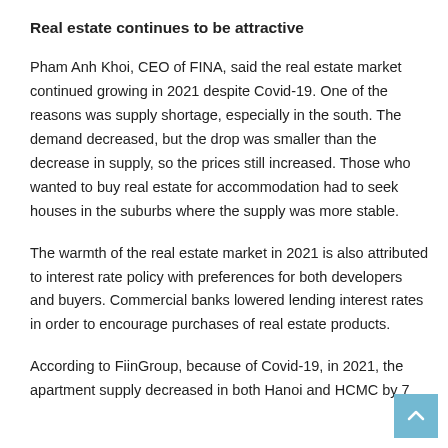Real estate continues to be attractive
Pham Anh Khoi, CEO of FINA, said the real estate market continued growing in 2021 despite Covid-19. One of the reasons was supply shortage, especially in the south. The demand decreased, but the drop was smaller than the decrease in supply, so the prices still increased. Those who wanted to buy real estate for accommodation had to seek houses in the suburbs where the supply was more stable.
The warmth of the real estate market in 2021 is also attributed to interest rate policy with preferences for both developers and buyers. Commercial banks lowered lending interest rates in order to encourage purchases of real estate products.
According to FiinGroup, because of Covid-19, in 2021, the apartment supply decreased in both Hanoi and HCMC by 7